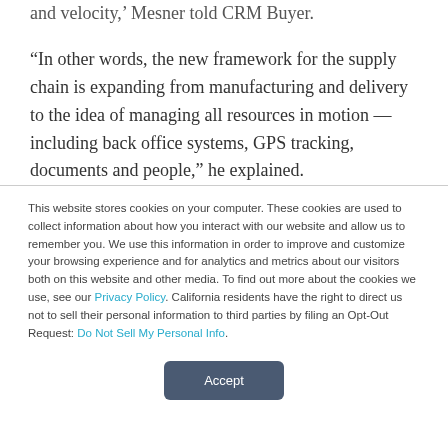and velocity,' Mesner told CRM Buyer.
“In other words, the new framework for the supply chain is expanding from manufacturing and delivery to the idea of managing all resources in motion — including back office systems, GPS tracking, documents and people,” he explained.
“Systems integrators made money with configurable systems
This website stores cookies on your computer. These cookies are used to collect information about how you interact with our website and allow us to remember you. We use this information in order to improve and customize your browsing experience and for analytics and metrics about our visitors both on this website and other media. To find out more about the cookies we use, see our Privacy Policy. California residents have the right to direct us not to sell their personal information to third parties by filing an Opt-Out Request: Do Not Sell My Personal Info.